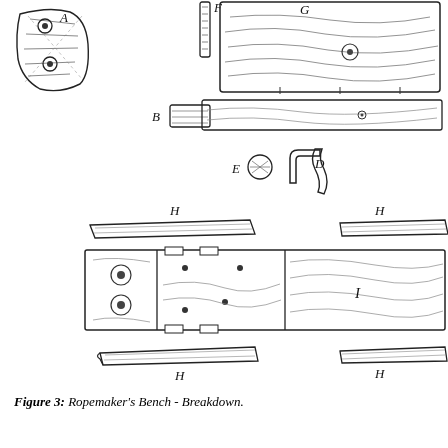[Figure (engineering-diagram): Exploded/breakdown diagram of a Ropemaker's Bench showing labeled components: A (end block with holes), B (small block/cap), C (hook mechanism), D (bracket), E (cylindrical bolt), F (vertical pin/peg), G (long board/top plank with wood grain), H (multiple wedge/slat pieces, labeled at top-left, top-right, bottom-left, bottom-right), I (long main beam/body with wood grain and mortise). All drawn in hand-sketched black ink line art style.]
Figure 3: Ropemaker's Bench - Breakdown.